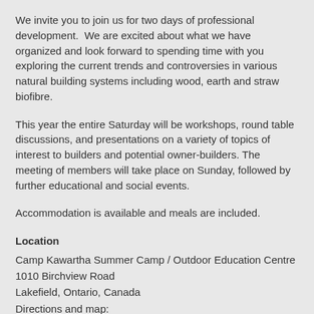We invite you to join us for two days of professional development.  We are excited about what we have organized and look forward to spending time with you exploring the current trends and controversies in various natural building systems including wood, earth and straw biofibre.
This year the entire Saturday will be workshops, round table discussions, and presentations on a variety of topics of interest to builders and potential owner-builders. The meeting of members will take place on Sunday, followed by further educational and social events.
Accommodation is available and meals are included.
Location
Camp Kawartha Summer Camp / Outdoor Education Centre
1010 Birchview Road
Lakefield, Ontario, Canada
Directions and map:
http://www.campkawartha.ca/contactus/directions.php
Key Note Speakers